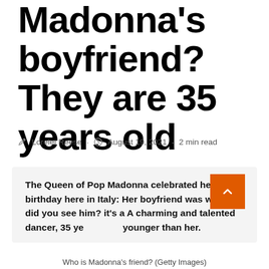Madonna's boyfriend? They are 35 years old
✎ Lorelei Reese · 🕐 August 19, 2021 · 2 min read
The Queen of Pop Madonna celebrated her birthday here in Italy: Her boyfriend was with her, did you see him? it's a A charming and talented dancer, 35 years younger than her.
Who is Madonna's friend? (Getty Images)